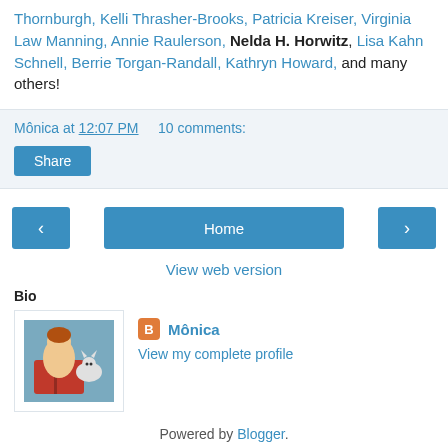Thornburgh, Kelli Thrasher-Brooks, Patricia Kreiser, Virginia Law Manning, Annie Raulerson, Nelda H. Horwitz, Lisa Kahn Schnell, Berrie Torgan-Randall, Kathryn Howard, and many others!
Mônica at 12:07 PM    10 comments:
Share
‹
Home
›
View web version
Bio
[Figure (illustration): Profile picture of a girl reading a book with a cat]
Mônica
View my complete profile
Powered by Blogger.